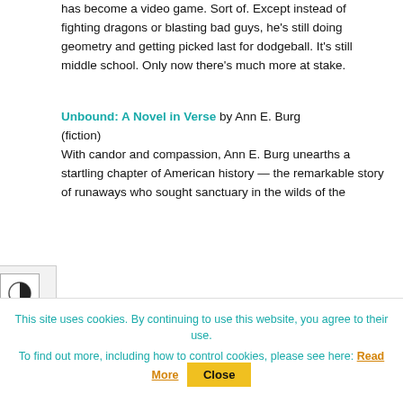has become a video game. Sort of. Except instead of fighting dragons or blasting bad guys, he's still doing geometry and getting picked last for dodgeball. It's still middle school. Only now there's much more at stake.
Unbound: A Novel in Verse by Ann E. Burg (fiction)
With candor and compassion, Ann E. Burg unearths a startling chapter of American history — the remarkable story of runaways who sought sanctuary in the wilds of the
This site uses cookies. By continuing to use this website, you agree to their use.
To find out more, including how to control cookies, please see here: Read More